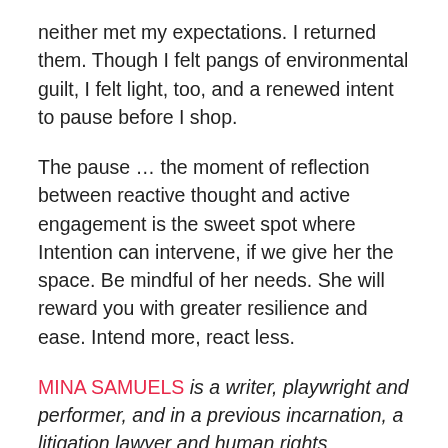neither met my expectations. I returned them. Though I felt pangs of environmental guilt, I felt light, too, and a renewed intent to pause before I shop.
The pause … the moment of reflection between reactive thought and active engagement is the sweet spot where Intention can intervene, if we give her the space. Be mindful of her needs. She will reward you with greater resilience and ease. Intend more, react less.
MINA SAMUELS is a writer, playwright and performer, and in a previous incarnation, a litigation lawyer and human rights advocate.